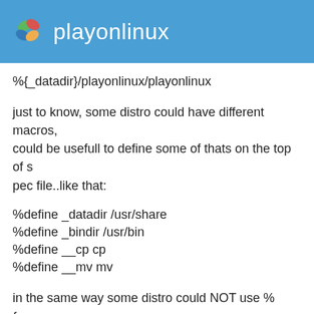playonlinux
%{_datadir}/playonlinux/playonlinux
just to know, some distro could have different macros, could be usefull to define some of thats on the top of spec file..like that:
%define _datadir /usr/share
%define _bindir /usr/bin
%define __cp cp
%define __mv mv
in the same way some distro could NOT use %{py_requires}, i know madriva use it..but i don't know nothing about fedora...
end to finish.. because language has been fixed that lin